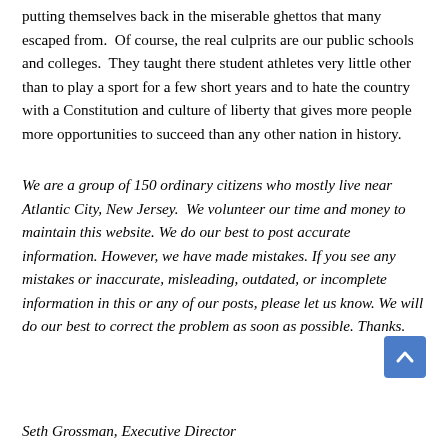putting themselves back in the miserable ghettos that many escaped from.  Of course, the real culprits are our public schools and colleges.  They taught there student athletes very little other than to play a sport for a few short years and to hate the country with a Constitution and culture of liberty that gives more people more opportunities to succeed than any other nation in history.
We are a group of 150 ordinary citizens who mostly live near Atlantic City, New Jersey.  We volunteer our time and money to maintain this website. We do our best to post accurate information. However, we have made mistakes. If you see any mistakes or inaccurate, misleading, outdated, or incomplete information in this or any of our posts, please let us know. We will do our best to correct the problem as soon as possible. Thanks.
Seth Grossman, Executive Director